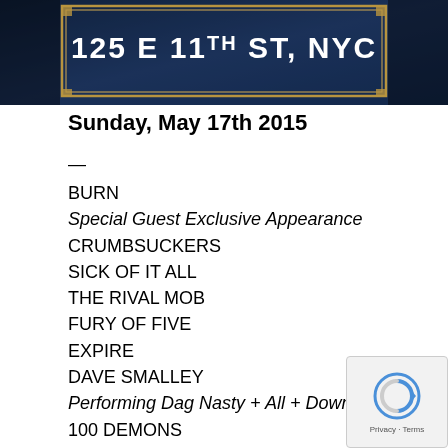[Figure (photo): Dark blue image with decorative gold border frame showing text '125 E 11TH ST, NYC' in white letters on a dark atmospheric background]
Sunday, May 17th 2015
—
BURN
Special Guest Exclusive Appearance
CRUMBSUCKERS
SICK OF IT ALL
THE RIVAL MOB
FURY OF FIVE
EXPIRE
DAVE SMALLEY
Performing Dag Nasty + All + Down By Law
100 DEMONS
WISDOM IN CHAINS
BITTER END